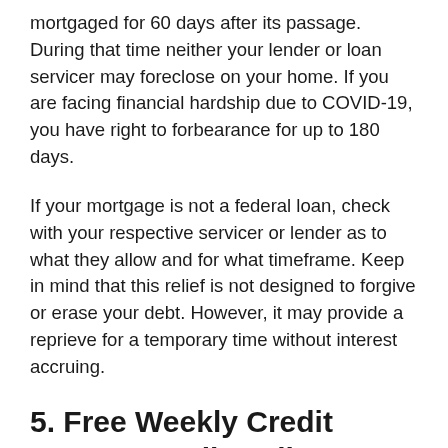mortgaged for 60 days after its passage. During that time neither your lender or loan servicer may foreclose on your home. If you are facing financial hardship due to COVID-19, you have right to forbearance for up to 180 days.
If your mortgage is not a federal loan, check with your respective servicer or lender as to what they allow and for what timeframe. Keep in mind that this relief is not designed to forgive or erase your debt. However, it may provide a reprieve for a temporary time without interest accruing.
5. Free Weekly Credit Reports Until April 2021